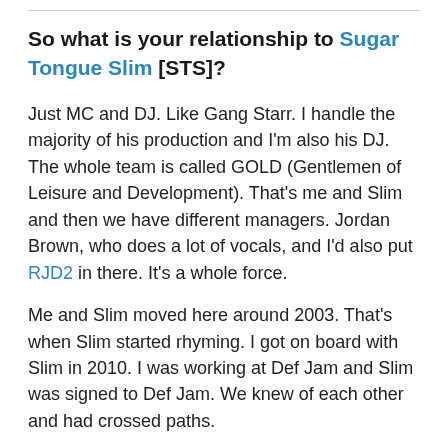So what is your relationship to Sugar Tongue Slim [STS]?
Just MC and DJ. Like Gang Starr. I handle the majority of his production and I'm also his DJ. The whole team is called GOLD (Gentlemen of Leisure and Development). That's me and Slim and then we have different managers. Jordan Brown, who does a lot of vocals, and I'd also put RJD2 in there. It's a whole force.
Me and Slim moved here around 2003. That's when Slim started rhyming. I got on board with Slim in 2010. I was working at Def Jam and Slim was signed to Def Jam. We knew of each other and had crossed paths.
We all started working together with The Roots. I was good friends with ?uestlove and Tariq. The...